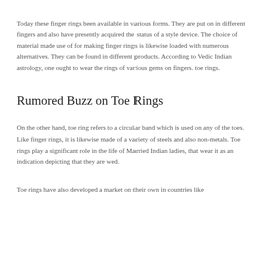Today these finger rings been available in various forms. They are put on in different fingers and also have presently acquired the status of a style device. The choice of material made use of for making finger rings is likewise loaded with numerous alternatives. They can be found in different products. According to Vedic Indian astrology, one ought to wear the rings of various gems on fingers. toe rings.
Rumored Buzz on Toe Rings
On the other hand, toe ring refers to a circular band which is used on any of the toes. Like finger rings, it is likewise made of a variety of steels and also non-metals. Toe rings play a significant role in the life of Married Indian ladies, that wear it as an indication depicting that they are wed.
Toe rings have also developed a market on their own in countries like